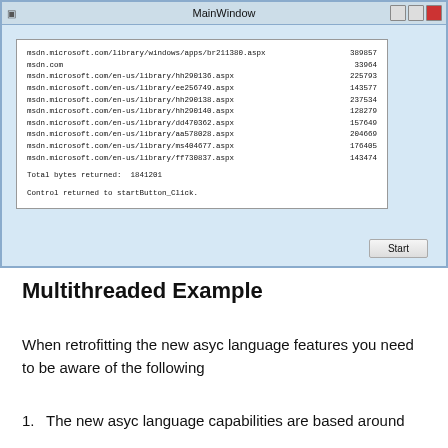[Figure (screenshot): A Windows application window titled 'MainWindow' showing a white text box with URL entries and byte counts, and a 'Start' button. The text box lists: msdn.microsoft.com/library/windows/apps/br211380.aspx 389857, msdn.com 33964, msdn.microsoft.com/en-us/library/hh290136.aspx 225793, msdn.microsoft.com/en-us/library/ee256749.aspx 143577, msdn.microsoft.com/en-us/library/hh290138.aspx 237534, msdn.microsoft.com/en-us/library/hh290140.aspx 128279, msdn.microsoft.com/en-us/library/dd470362.aspx 157649, msdn.microsoft.com/en-us/library/aa578028.aspx 204669, msdn.microsoft.com/en-us/library/ms404677.aspx 176405, msdn.microsoft.com/en-us/library/ff730837.aspx 143474. Total bytes returned: 1841201. Control returned to startButton_Click.]
Multithreaded Example
When retrofitting the new asyc language features you need to be aware of the following
The new asyc language capabilities are based around